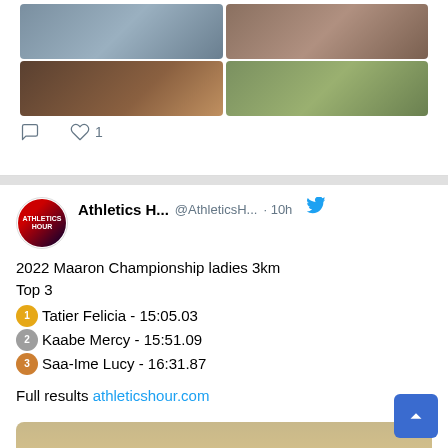[Figure (photo): Top portion of a tweet showing a 2x2 grid of photos - studio/DJ photo top left, people seated top right, man with headphones bottom left, person outdoors bottom right]
1 like
[Figure (logo): Athletics Hour logo - circular logo with runner silhouette and text ATHLETICS HOUR]
Athletics H... @AthleticsH... · 10h
2022 Maaron Championship ladies 3km Top 3
🥇 Tatier Felicia - 15:05.03
🥈 Kaabe Mercy - 15:51.09
🥉 Saa-Ime Lucy - 16:31.87

Full results athleticshour.com
[Figure (photo): Photo of three young people standing in front of a wall]